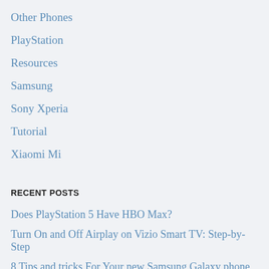Other Phones
PlayStation
Resources
Samsung
Sony Xperia
Tutorial
Xiaomi Mi
RECENT POSTS
Does PlayStation 5 Have HBO Max?
Turn On and Off Airplay on Vizio Smart TV: Step-by-Step
8 Tips and tricks For Your new Samsung Galaxy phone